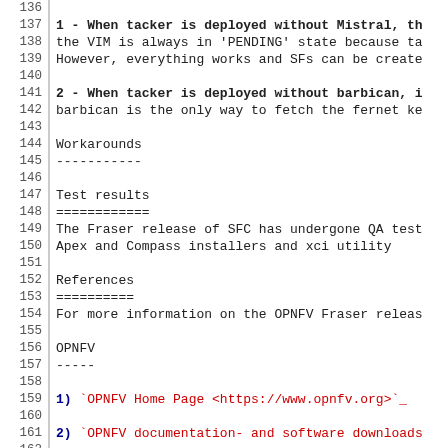136
137  1 - When tacker is deployed without Mistral, th
138  the VIM is always in 'PENDING' state because ta
139  However, everything works and SFs can be create
140
141  2 - When tacker is deployed without barbican, i
142  barbican is the only way to fetch the fernet ke
143
144  Workarounds
145  -----------
146
147  Test results
148  ============
149  The Fraser release of SFC has undergone QA test
150  Apex and Compass installers and xci utility
151
152  References
153  ==========
154  For more information on the OPNFV Fraser releas
155
156  OPNFV
157  -----
158
159  1)  `OPNFV Home Page <https://www.opnfv.org>`_
160
161  2)  `OPNFV documentation- and software downloads
162
163  3)  `OPNFV Fraser release <http://wiki.opnfv.org
164
165  OpenStack